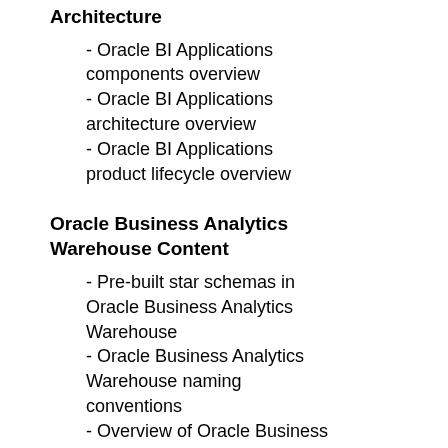Architecture
- Oracle BI Applications components overview
- Oracle BI Applications architecture overview
- Oracle BI Applications product lifecycle overview
Oracle Business Analytics Warehouse Content
- Pre-built star schemas in Oracle Business Analytics Warehouse
- Oracle Business Analytics Warehouse naming conventions
- Overview of Oracle Business Analytics Warehouse tables
- System columns in Oracle Business Analytics Warehouse tables